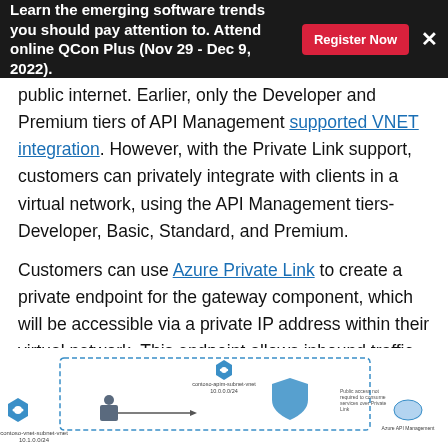Learn the emerging software trends you should pay attention to. Attend online QCon Plus (Nov 29 - Dec 9, 2022).  Register Now  ×
public internet. Earlier, only the Developer and Premium tiers of API Management supported VNET integration. However, with the Private Link support, customers can privately integrate with clients in a virtual network, using the API Management tiers- Developer, Basic, Standard, and Premium.
Customers can use Azure Private Link to create a private endpoint for the gateway component, which will be accessible via a private IP address within their virtual network. This endpoint allows inbound traffic to the private IP address to reach the Azure API Management gateway.
[Figure (engineering-diagram): Architecture diagram showing Azure Virtual Network integration with API Management using Private Link, including contoso-apim-subnet-vnet, contoso-vnet-subnet-vnet, Azure API Management cloud icon, and a shield icon indicating Public access not required to consume services over Private Link]